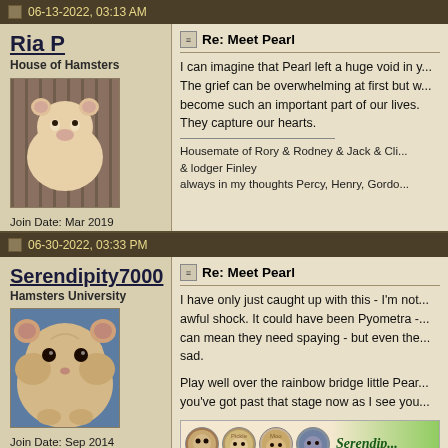06-13-2022, 03:13 AM
Ria P
House of Hamsters
Join Date: Mar 2019
Location: Wiltshire, UK
Posts: 6,539
Re: Meet Pearl
I can imagine that Pearl left a huge void in y... The grief can be overwhelming at first but w... become such an important part of our lives. They capture our hearts.
Housemate of Rory & Rodney & Jack & Cli... & lodger Finley
always in my thoughts Percy, Henry, Gordo...
06-30-2022, 03:33 PM
Serendipity7000
Hamsters University
Join Date: Sep 2014
Location: North of England
Posts: 23,231
Re: Meet Pearl
I have only just caught up with this - I'm not... awful shock. It could have been Pyometra - ... can mean they need spaying - but even the... sad.
Play well over the rainbow bridge little Pear... you've got past that stage now as I see you...